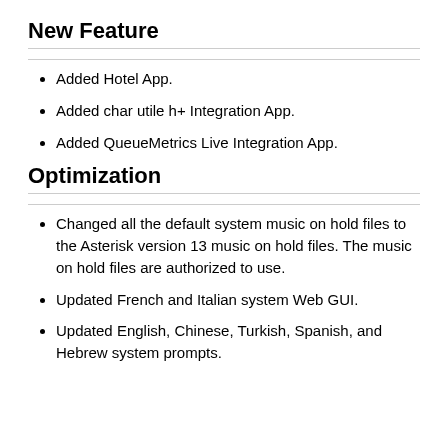New Feature
Added Hotel App.
Added char utile h+ Integration App.
Added QueueMetrics Live Integration App.
Optimization
Changed all the default system music on hold files to the Asterisk version 13 music on hold files. The music on hold files are authorized to use.
Updated French and Italian system Web GUI.
Updated English, Chinese, Turkish, Spanish, and Hebrew system prompts.